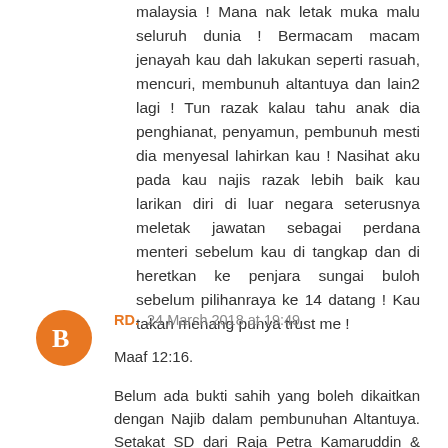malaysia ! Mana nak letak muka malu seluruh dunia ! Bermacam macam jenayah kau dah lakukan seperti rasuah, mencuri, membunuh altantuya dan lain2 lagi ! Tun razak kalau tahu anak dia penghianat, penyamun, pembunuh mesti dia menyesal lahirkan kau ! Nasihat aku pada kau najis razak lebih baik kau larikan diri di luar negara seterusnya meletak jawatan sebagai perdana menteri sebelum kau di tangkap dan di heretkan ke penjara sungai buloh sebelum pilihanraya ke 14 datang ! Kau takan menang punya trust me !
RD.  24 March 2018 at 19:49
Maaf 12:16.
Belum ada bukti sahih yang boleh dikaitkan dengan Najib dalam pembunuhan Altantuya. Setakat SD dari Raja Petra Kamaruddin & mungkin PI Bala saja. RPK dalam Akuan Bersumpah (SD) mengatakan Rosmah berada